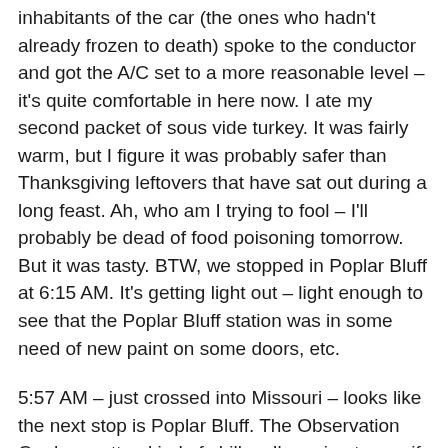inhabitants of the car (the ones who hadn't already frozen to death) spoke to the conductor and got the A/C set to a more reasonable level – it's quite comfortable in here now. I ate my second packet of sous vide turkey. It was fairly warm, but I figure it was probably safer than Thanksgiving leftovers that have sat out during a long feast. Ah, who am I trying to fool – I'll probably be dead of food poisoning tomorrow. But it was tasty. BTW, we stopped in Poplar Bluff at 6:15 AM. It's getting light out – light enough to see that the Poplar Bluff station was in some need of new paint on some doors, etc.
5:57 AM – just crossed into Missouri – looks like the next stop is Poplar Bluff. The Observation Car has gotten kind of chilly – I'm going to see if I can get back to my (window) seat and maybe doze some more.
5:18 AM – pulling out of Hoxie / Walnut Ridge (it was the next stop). I tried the Indoor preset on my camera and got a decent picture which captures the Observation Car (well, the 1/3 of it